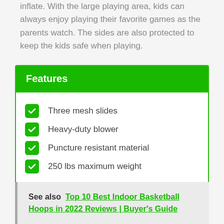inflate. With the large playing area, kids can always enjoy playing their favorite games as the parents watch. The sides are also protected to keep the kids safe when playing.
Features
Three mesh slides
Heavy-duty blower
Puncture resistant material
250 lbs maximum weight
See also  Top 10 Best Indoor Basketball Hoops in 2022 Reviews | Buyer's Guide